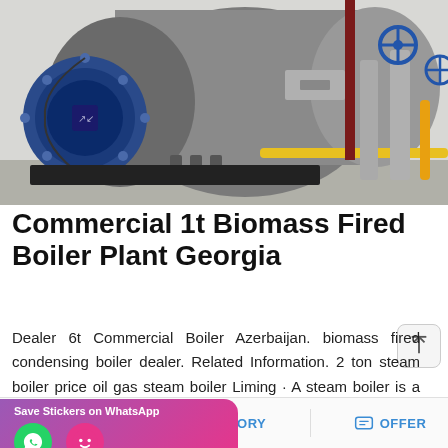[Figure (photo): Industrial biomass boiler plant showing large cylindrical boiler with blue circular burner head on the left, connected piping with yellow gas pipes, and valves with blue handwheels on the right, inside an industrial facility.]
Commercial 1t Biomass Fired Boiler Plant Georgia
Dealer 6t Commercial Boiler Azerbaijan. biomass fired condensing boiler dealer. Related Information. 2 ton steam boiler price oil gas steam boiler Liming · A steam boiler is a type of railway locomotive th…